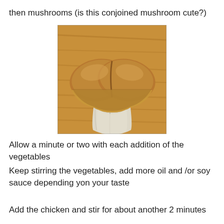then mushrooms (is this conjoined mushroom cute?)
[Figure (photo): A conjoined double mushroom (two caps fused together) sitting on a wooden surface, photographed from the front showing the white stem and brown caps.]
Allow a minute or two with each addition of the vegetables
Keep stirring the vegetables, add more oil and /or soy sauce depending yon your taste
Add the chicken and stir for about another 2 minutes